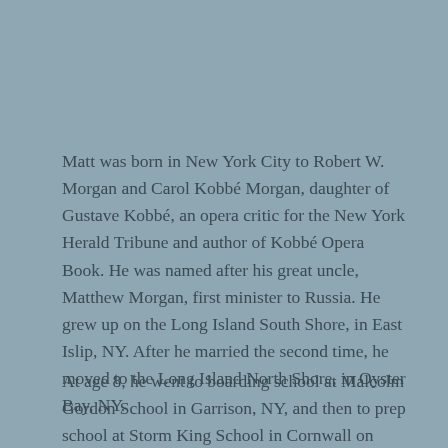Matt was born in New York City to Robert W. Morgan and Carol Kobbé Morgan, daughter of Gustave Kobbé, an opera critic for the New York Herald Tribune and author of Kobbé Opera Book. He was named after his great uncle, Matthew Morgan, first minister to Russia. He grew up on the Long Island South Shore, in East Islip, NY. After he married the second time, he moved to the Long Island North Shore, in Oyster Bay, NY.
At age 8, he went to boarding school at Malcolm Gordon School in Garrison, NY, and then to prep school at Storm King School in Cornwall on Hudson, NY. Upon high